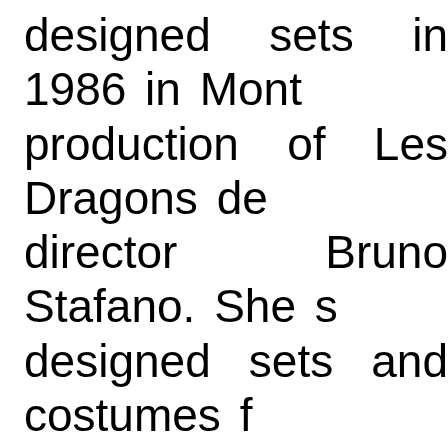designed sets in 1986 in Mont production of Les Dragons de director Bruno Stafano. She designed sets and costumes Karpo?s Aida in Ljubljana (199 Stanislav Gaudasinsky?s Mo Marseilles (1992) and sets fo Marseilles and Bordeaux (working two productions with designer Quilici)